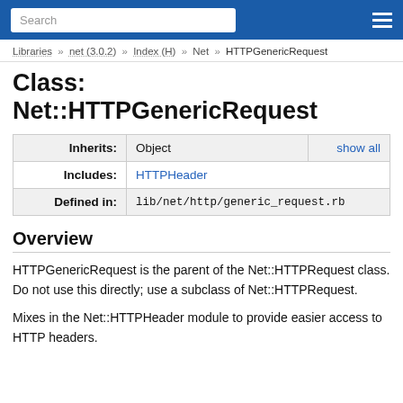Search
Libraries » net (3.0.2) » Index (H) » Net » HTTPGenericRequest
Class: Net::HTTPGenericRequest
|  |  |  |
| --- | --- | --- |
| Inherits: | Object | show all |
| Includes: | HTTPHeader |  |
| Defined in: | lib/net/http/generic_request.rb |  |
Overview
HTTPGenericRequest is the parent of the Net::HTTPRequest class. Do not use this directly; use a subclass of Net::HTTPRequest.
Mixes in the Net::HTTPHeader module to provide easier access to HTTP headers.